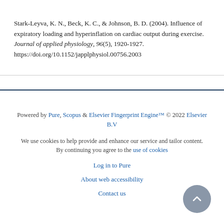Stark-Leyva, K. N., Beck, K. C., & Johnson, B. D. (2004). Influence of expiratory loading and hyperinflation on cardiac output during exercise. Journal of applied physiology, 96(5), 1920-1927. https://doi.org/10.1152/japplphysiol.00756.2003
Powered by Pure, Scopus & Elsevier Fingerprint Engine™ © 2022 Elsevier B.V

We use cookies to help provide and enhance our service and tailor content. By continuing you agree to the use of cookies

Log in to Pure

About web accessibility

Contact us